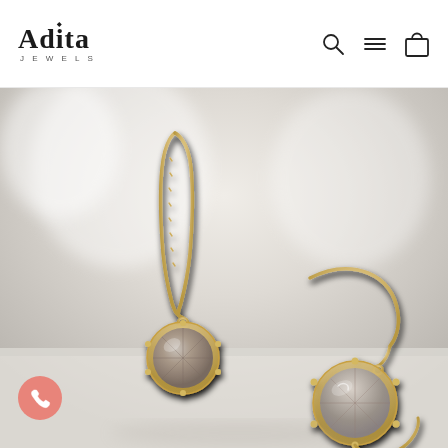[Figure (logo): Adita Jewels logo with diamond dot above the letter i, and navigation icons (search, menu, bag) on the right]
[Figure (photo): Close-up product photo of a pair of gold drop earrings with smoky grey/taupe faceted round gemstone pendants on elongated textured gold wire hooks, set against a soft white background with blurred white floral elements]